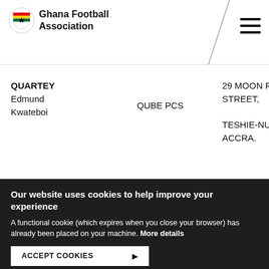Ghana Football Association
QUARTEY Edmund Kwateboi
QUBE PCS
29 MOON FLOWER STREET, TESHIE-NUNGUA ACCRA.
Our website uses cookies to help improve your experience
A functional cookie (which expires when you close your browser) has already been placed on your machine. More details
ACCEPT COOKIES